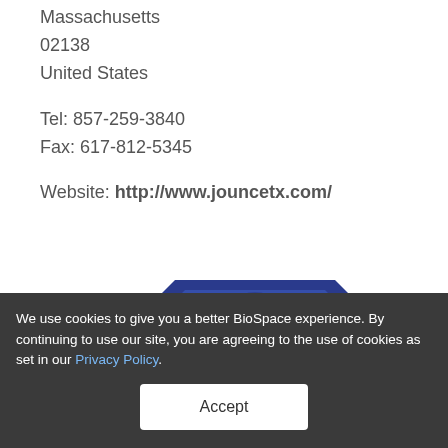Massachusetts
02138
United States
Tel: 857-259-3840
Fax: 617-812-5345
Website: http://www.jouncetx.com/
[Figure (logo): NextGen Class of 2015 badge — a blue house/shield shaped logo with the text NEXTGEN CLASS of 2015 and a checkmark symbol]
We use cookies to give you a better BioSpace experience. By continuing to use our site, you are agreeing to the use of cookies as set in our Privacy Policy.